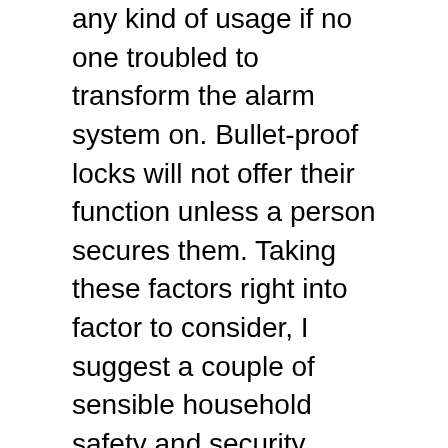any kind of usage if no one troubled to transform the alarm system on. Bullet-proof locks will not offer their function unless a person secures them. Taking these factors right into factor to consider, I suggest a couple of sensible household safety and security systems that provide reputable protection minus the headache.
Positive factors consist of raising your degree of safety and security: for decreases in the price of insurance policy, particularly in regard of materials insurance policy; in accordance with dangers such as a boost in regional criminal offense entailing domestic facilities; or complying with current financial investment in dealt with or portable properties. These instances are never